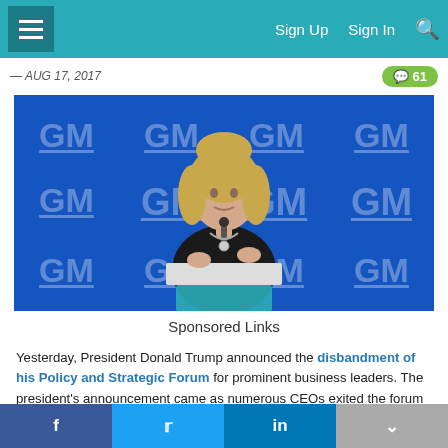Sign Up   Sign In
— AUG 17, 2017
[Figure (photo): Woman speaking at a GM (General Motors) branded podium/lectern in front of a blue GM logo backdrop. The speaker is a woman with blonde hair wearing a black blazer.]
Sponsored Links
Yesterday, President Donald Trump announced the disbandment of his Policy and Strategic Forum for prominent business leaders. The president's announcement came as numerous CEOs exited the forum over controversy surrounding protests and counter-